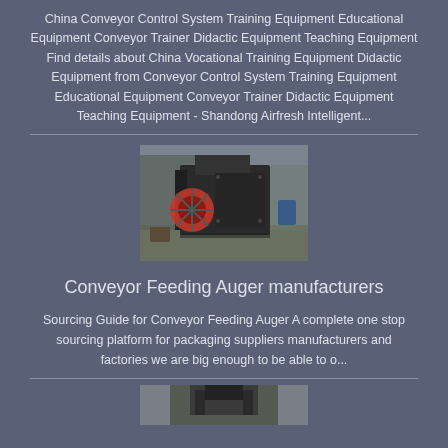China Conveyor Control System Training Equipment Educational Equipment Conveyor Trainer Didactic Equipment Teaching Equipment Find details about China Vocational Training Equipment Didactic Equipment from Conveyor Control System Training Equipment Educational Equipment Conveyor Trainer Didactic Equipment Teaching Equipment - Shandong Airfresh Intelligent...
[Figure (photo): Industrial machine (hammer mill or impact crusher) photographed outdoors at a factory or workshop site. Large black machine with a red/orange flywheel or disc on the left side.]
Conveyor Feeding Auger manufacturers
Sourcing Guide for Conveyor Feeding Auger A complete one stop sourcing platform for packaging suppliers manufacturers and factories we are big enough to be able to o...
[Figure (photo): Partial view of industrial conveyor or feeding equipment, bottom of page, cropped.]